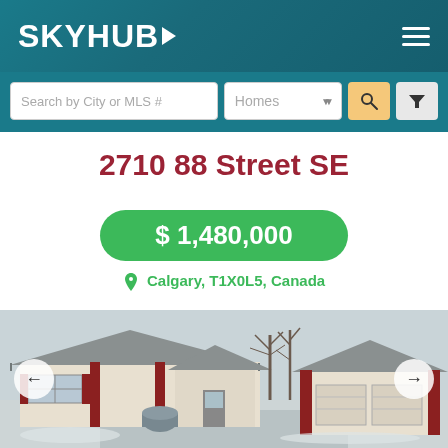[Figure (logo): SKYHUB logo with triangle arrow on teal/dark teal gradient header background with hamburger menu icon]
[Figure (screenshot): Search bar with 'Search by City or MLS #' input, 'Homes' dropdown, search magnifier button, and filter funnel button on teal background]
2710 88 Street SE
$ 1,480,000
Calgary, T1X0L5, Canada
[Figure (photo): Exterior photo of a bungalow-style house with white/cream siding and red trim accents, a detached red and white garage, leafless trees in winter, light snow on ground, overcast sky]